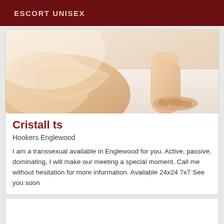ESCORT UNISEX
[Figure (photo): Close-up photo of a person's lower body/hips and legs on a light surface, skin-toned, suggestive pose]
Cristall ts
Hookers Englewood
I am a transsexual available in Englewood for you. Active, passive, dominating, I will make our meeting a special moment. Call me without hesitation for more information. Available 24x24 7x7 See you soon